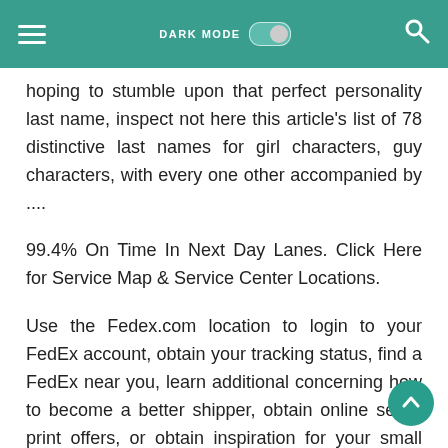DARK MODE [toggle] [search icon]
hoping to stumble upon that perfect personality last name, inspect not here this article's list of 78 distinctive last names for girl characters, guy characters, with every one other accompanied by ....
99.4% On Time In Next Day Lanes. Click Here for Service Map & Service Center Locations.
Use the Fedex.com location to login to your FedEx account, obtain your tracking status, find a FedEx near you, learn additional concerning how to become a better shipper, obtain online set in print offers, or obtain inspiration for your small work needs..
Save a trip to the store accompanied by Same Day Delivery from Walgreens. Order online with every other accompanied by choose Same Day Delivery to obtain your matters delivered straight to the ...